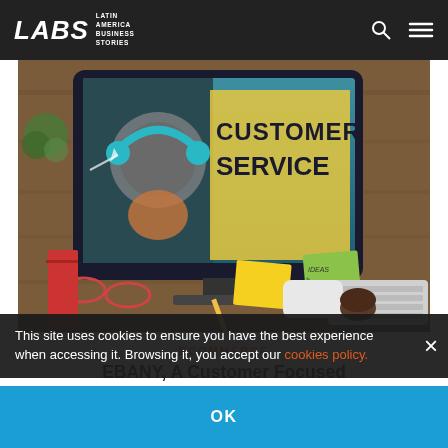LABS Latin America Business Stories
[Figure (photo): Computer monitor displaying a 'Customer Service' illustration with a headphone-wearing figure, surrounded by a cluttered desk with glasses, notebooks, sticky notes, pencils, and a keyboard in the background.]
ECOMMERCE
EBANY, A Customer Focused Company with a Superb
This site uses cookies to ensure you have the best experience when accessing it. Browsing it, you accept our cookies policy.
OK